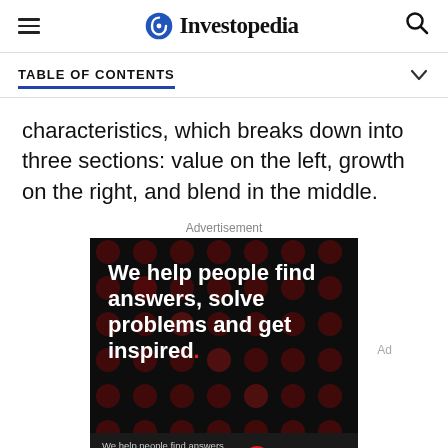Investopedia
TABLE OF CONTENTS
characteristics, which breaks down into three sections: value on the left, growth on the right, and blend in the middle.
Advertisement
[Figure (photo): Dotdash Meredith advertisement with dark background and red polka dots pattern, white bold text reading 'We help people find answers, solve problems and get inspired.' with a red period, and a footer bar with smaller text and the Dotdash Meredith logo.]